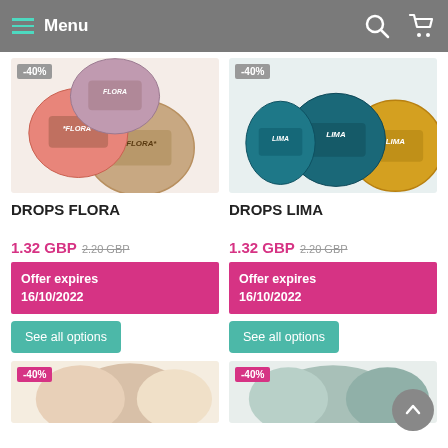Menu
[Figure (photo): DROPS FLORA yarn balls in pink, mauve, and beige colors with -40% discount badge]
[Figure (photo): DROPS LIMA yarn balls in teal and yellow colors with -40% discount badge]
DROPS FLORA
DROPS LIMA
1.32 GBP 2.20 GBP
1.32 GBP 2.20 GBP
Offer expires 16/10/2022
Offer expires 16/10/2022
See all options
See all options
[Figure (photo): Bottom left yarn product with -40% badge]
[Figure (photo): Bottom right yarn product with -40% badge]